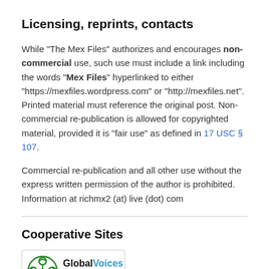Licensing, reprints, contacts
While "The Mex Files" authorizes and encourages non-commercial use, such use must include a link including the words "Mex Files" hyperlinked to either "https://mexfiles.wordpress.com" or "http://mexfiles.net". Printed material must reference the original post. Non-commercial re-publication is allowed for copyrighted material, provided it is "fair use" as defined in 17 USC § 107.
Commercial re-publication and all other use without the express written permission of the author is prohibited. Information at richmx2 (at) live (dot) com
Cooperative Sites
[Figure (logo): Global Voices logo badge — green knotwork icon on left, text 'GlobalVoices' with taglines 'The world is talking' and 'Are you listening?' in orange]